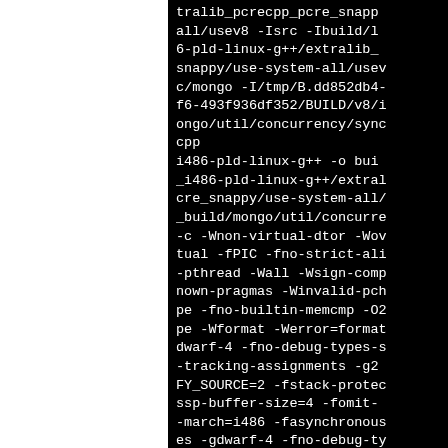tralib_pcrecpp_pcre_snappy/use-system-all/usev8 -Isrc -Ibuild/lib/i486-pld-linux-g++/extralib_pcre_snappy/use-system-all/usev8/c/mongo -I/tmp/B.dd852db4-f6-493f936df352/BUILD/v8/ongo/util/concurrency/sync.cpp
i486-pld-linux-g++ -o bui_i486-pld-linux-g++/extralib_cre_snappy/use-system-all/_build/mongo/util/concurre-c -Wnon-virtual-dtor -Wovtual -fPIC -fno-strict-ali-pthread -Wall -Wsign-compnown-pragmas -Winvalid-pchpe -fno-builtin-memcmp -O2pe -Wformat -Werror=formatdwarf-4 -fno-debug-types-s-tracking-assignments -g2FY_SOURCE=2 -fstack-protecssp-buffer-size=4 -fomit--march=i486 -fasynchronouses -gdwarf-4 -fno-debug-ty